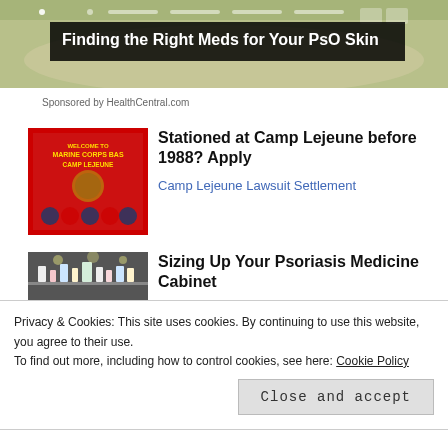[Figure (photo): Top banner image showing skin/hand with dark overlay containing article title about psoriasis medications]
Finding the Right Meds for Your PsO Skin
Sponsored by HealthCentral.com
[Figure (photo): Red Marine Corps Base Camp Lejeune welcome sign with emblems and badges]
Stationed at Camp Lejeune before 1988? Apply
Camp Lejeune Lawsuit Settlement
[Figure (photo): Pharmacy store shelves with medicine bottles, bokeh lights in background, hands in foreground]
Sizing Up Your Psoriasis Medicine Cabinet
Privacy & Cookies: This site uses cookies. By continuing to use this website, you agree to their use.
To find out more, including how to control cookies, see here: Cookie Policy
Close and accept